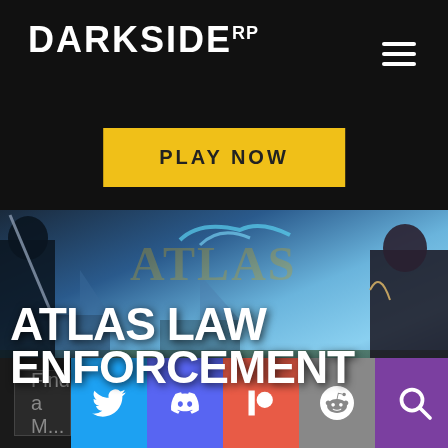[Figure (logo): DarksideRP logo in white uppercase text on dark background]
[Figure (other): Hamburger menu icon (three white horizontal lines) in top right]
PLAY NOW
[Figure (photo): Fantasy game scene banner with characters in armor and blue sky background, title ATLAS LAW ENFORCEMENT overlaid in white bold uppercase text]
Find a M... R...
[Figure (other): Social media icons row: Twitter (blue), Discord (purple), Patreon (red-orange), Reddit (grey), and a purple search button with magnifying glass icon]